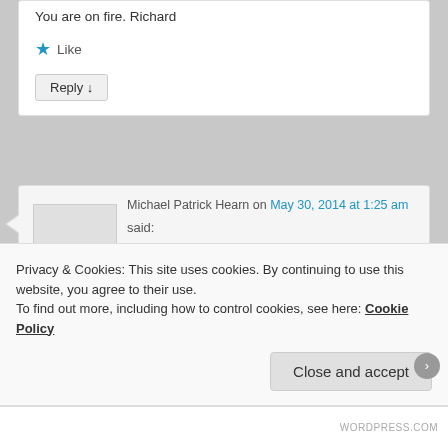You are on fire.  Richard
★ Like
Reply ↓
Michael Patrick Hearn on May 30, 2014 at 1:25 am
said:
A very good piece, Kathy.  But no mention of
Privacy & Cookies: This site uses cookies. By continuing to use this website, you agree to their use.
To find out more, including how to control cookies, see here: Cookie Policy
Close and accept